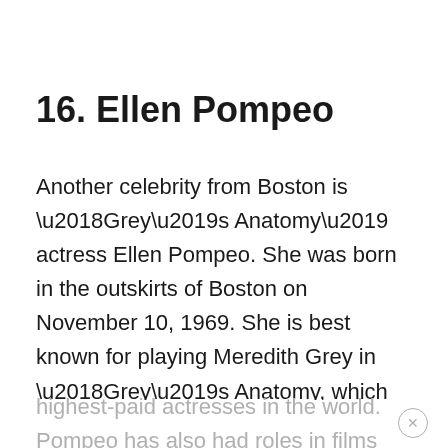16. Ellen Pompeo
Another celebrity from Boston is ‘Grey’s Anatomy’ actress Ellen Pompeo. She was born in the outskirts of Boston on November 10, 1969. She is best known for playing Meredith Grey in ‘Grey’s Anatomy, which she has played since 2005. The role has made her one of the highest-paid actresses in the world. Pompeo has also had roles in films such